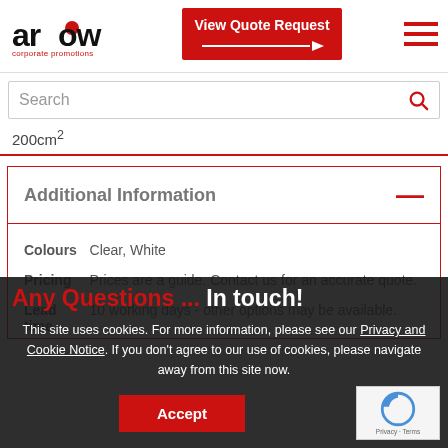[Figure (logo): Arrow Corporate Promotions logo with red dot between two w letters]
[Figure (other): Red 'View Quote Request' button with arrow]
[Figure (other): Red hamburger menu icon]
Search
200cm²
Additional Information
| Field | Value |
| --- | --- |
| Colours | Clear, White |
| Pricing | Prices are a guide. Contact us for an accurate quote. |
| Lead time | 10 working days - other options may be available. |
Any Questions ... !
This site uses cookies. For more information, please see our Privacy and Cookie Notice. If you don't agree to our use of cookies, please navigate away from this site now.